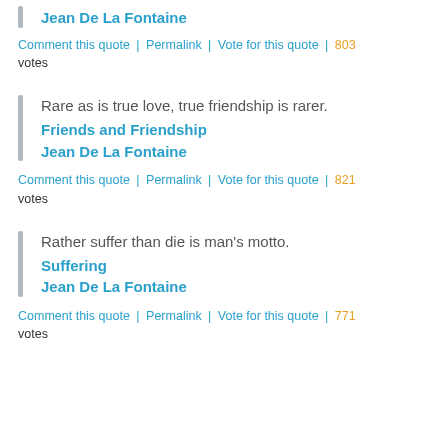Jean De La Fontaine
Comment this quote | Permalink | Vote for this quote | 803 votes
Rare as is true love, true friendship is rarer.
Friends and Friendship
Jean De La Fontaine
Comment this quote | Permalink | Vote for this quote | 821 votes
Rather suffer than die is man's motto.
Suffering
Jean De La Fontaine
Comment this quote | Permalink | Vote for this quote | 771 votes